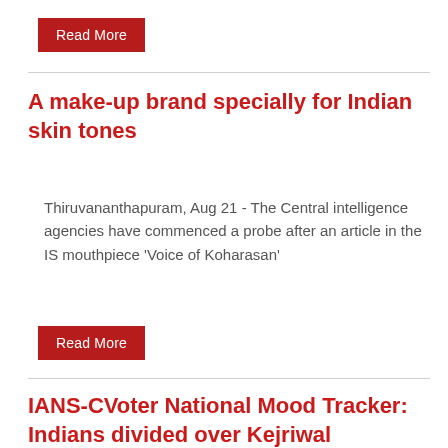Read More
A make-up brand specially for Indian skin tones
Thiruvananthapuram, Aug 21 - The Central intelligence agencies have commenced a probe after an article in the IS mouthpiece 'Voice of Koharasan'
Read More
IANS-CVoter National Mood Tracker: Indians divided over Kejriwal emerging as Oppn's PM face
Thiruvananthapuram, Aug 21 - The Central intelligence agencies have commenced a probe after